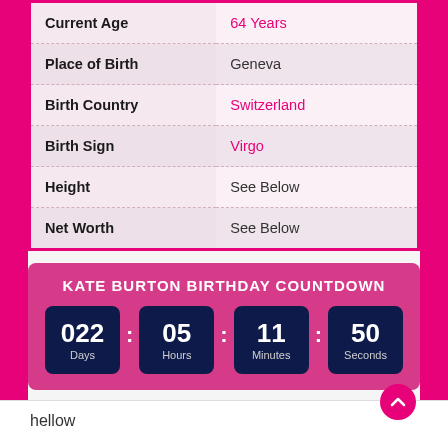| Field | Value |
| --- | --- |
| Current Age | 64 Years |
| Place of Birth | Geneva |
| Birth Country | Switzerland |
| Birth Sign | Virgo |
| Height | See Below |
| Net Worth | See Below |
KATE BURTON BIRTHDAY COUNTDOWN
[Figure (infographic): Birthday countdown timer showing 022 Days, 05 Hours, 11 Minutes, 50 Seconds in dark blue boxes on a pink background]
hellow